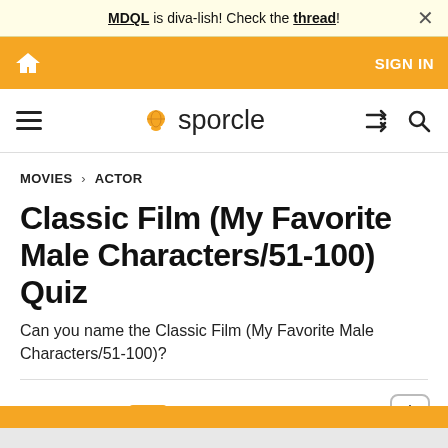MDQL is diva-lish! Check the thread!
[Figure (screenshot): Orange navigation bar with home icon and SIGN IN text]
[Figure (logo): Sporcle logo with globe icon, hamburger menu, shuffle icon, and search icon]
MOVIES > ACTOR
Classic Film (My Favorite Male Characters/51-100) Quiz
Can you name the Classic Film (My Favorite Male Characters/51-100)?
MORE INFO
[Figure (screenshot): Settings gear icon button]